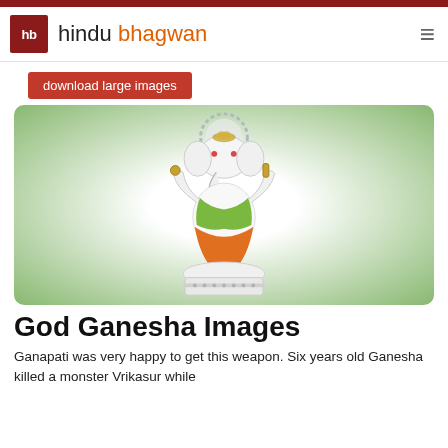hindu bhagwan
download large images
[Figure (photo): A colorful idol/statue of Lord Ganesha seated on a lotus, wearing orange garments, with four arms, on a green radial gradient background.]
God Ganesha Images
Ganapati was very happy to get this weapon. Six years old Ganesha killed a monster Vrikasur while